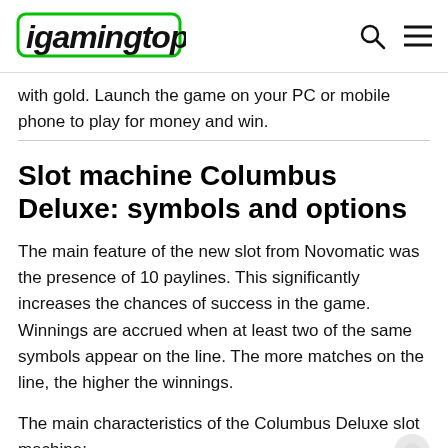igamingtop
with gold. Launch the game on your PC or mobile phone to play for money and win.
Slot machine Columbus Deluxe: symbols and options
The main feature of the new slot from Novomatic was the presence of 10 paylines. This significantly increases the chances of success in the game. Winnings are accrued when at least two of the same symbols appear on the line. The more matches on the line, the higher the winnings.
The main characteristics of the Columbus Deluxe slot machine: